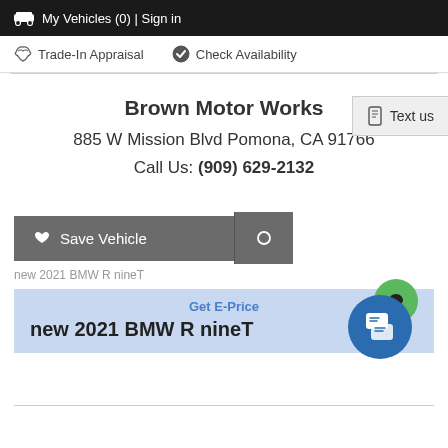My Vehicles (0) | Sign in
Trade-In Appraisal   Check Availability
Brown Motor Works
885 W Mission Blvd Pomona, CA 91766
Call Us: (909) 629-2132
Text us
Save Vehicle
new 2021 BMW R nineT
Get E-Price
new 2021 BMW R nineT